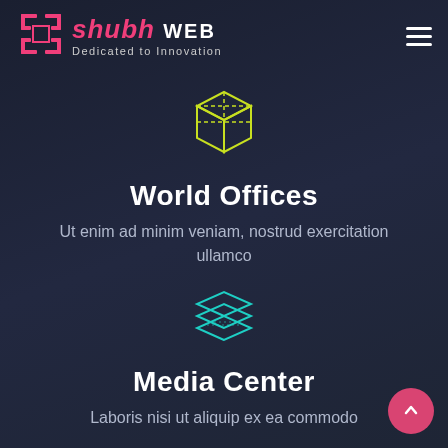[Figure (logo): Shubh Web logo with swastika symbol in pink, brand name 'shubh WEB' in pink and white italic/bold text, tagline 'Dedicated to Innovation' in light gray]
[Figure (illustration): Yellow-green wireframe 3D cube icon centered on dark background]
World Offices
Ut enim ad minim veniam, nostrud exercitation ullamco
[Figure (illustration): Teal/cyan stacked layers icon centered on dark background]
Media Center
Laboris nisi ut aliquip ex ea commodo